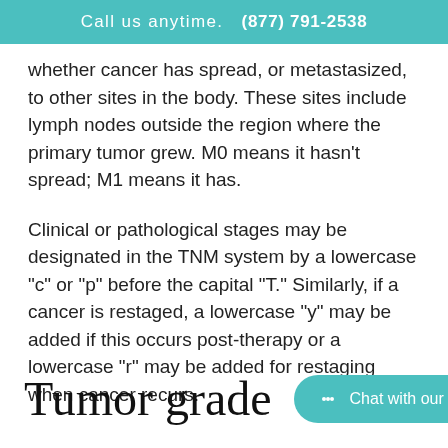Call us anytime. (877) 791-2538
whether cancer has spread, or metastasized, to other sites in the body. These sites include lymph nodes outside the region where the primary tumor grew. M0 means it hasn't spread; M1 means it has.
Clinical or pathological stages may be designated in the TNM system by a lowercase “c” or “p” before the capital “T.” Similarly, if a cancer is restaged, a lowercase “y” may be added if this occurs post-therapy or a lowercase “r” may be added for restaging when cancer recurs.
Tumor grade